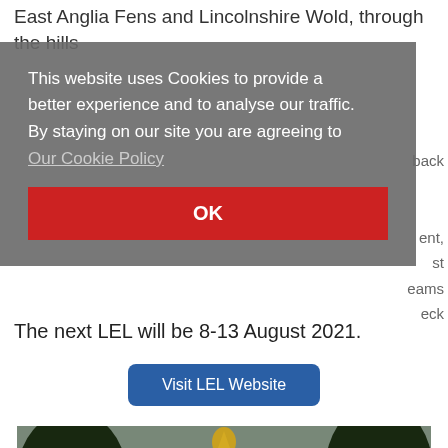East Anglia Fens and Lincolnshire Wold, through the hills
This website uses Cookies to provide a better experience and to analyse our traffic. By staying on our site you are agreeing to Our Cookie Policy
OK
The next LEL will be 8-13 August 2021.
Visit LEL Website
[Figure (photo): Photograph of a building facade with trees and a golden statue/monument in the foreground, likely Buckingham Palace area]